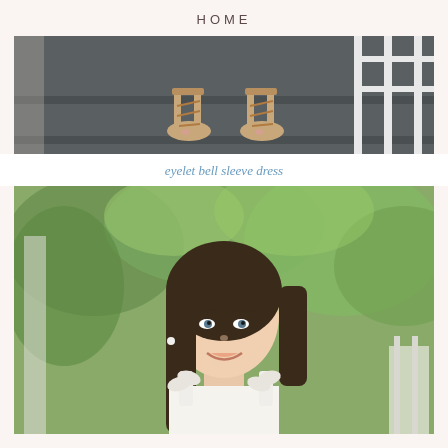HOME
[Figure (photo): Close-up photo of a woman's feet wearing tan strappy lace-up wedge sandals on dark painted wooden porch steps with white railings visible]
eyelet bell sleeve dress
[Figure (photo): Portrait photo of a smiling brunette woman wearing a white dress with bow-tie shoulder straps, standing outdoors with green trees in the background]